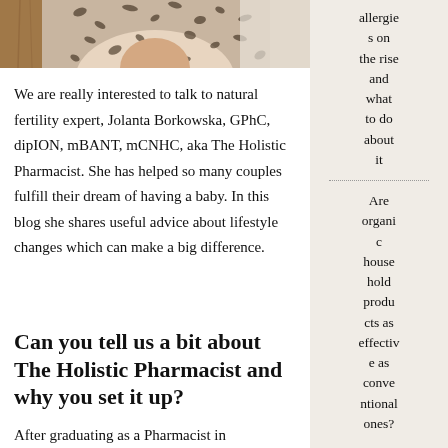[Figure (photo): Top portion of a photo showing a person wearing a patterned/floral top, cropped at the top of the page.]
We are really interested to talk to natural fertility expert, Jolanta Borkowska, GPhC, dipION, mBANT, mCNHC, aka The Holistic Pharmacist. She has helped so many couples fulfill their dream of having a baby. In this blog she shares useful advice about lifestyle changes which can make a big difference.
Can you tell us a bit about The Holistic Pharmacist and why you set it up?
After graduating as a Pharmacist in
allergies on the rise and what to do about it
Are organic household products as effective as conventional ones?